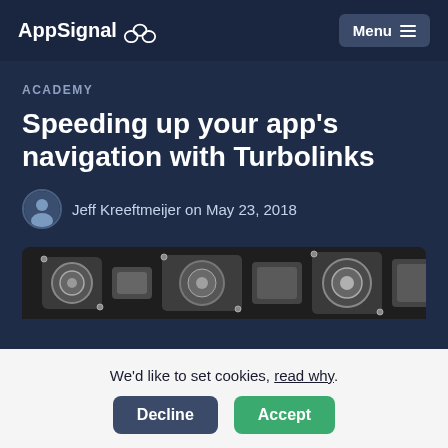AppSignal  Menu
ACADEMY
Speeding up your app's navigation with Turbolinks
Jeff Kreeftmeijer on May 23, 2018
[Figure (photo): Mechanical photo showing metallic engine components or turbo parts]
We'd like to set cookies, read why.
Decline  Accept